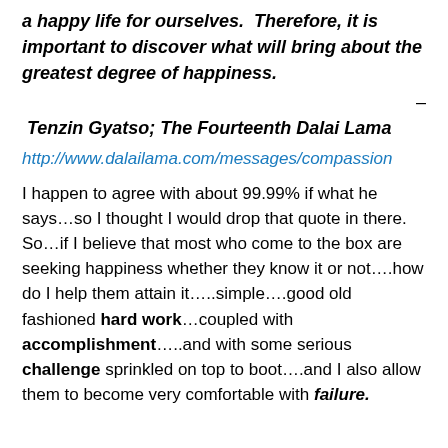a happy life for ourselves.  Therefore, it is important to discover what will bring about the greatest degree of happiness.
–
Tenzin Gyatso; The Fourteenth Dalai Lama
http://www.dalailama.com/messages/compassion
I happen to agree with about 99.99% if what he says…so I thought I would drop that quote in there.  So…if I believe that most who come to the box are seeking happiness whether they know it or not….how do I help them attain it…..simple….good old fashioned hard work…coupled with accomplishment…..and with some serious challenge sprinkled on top to boot….and I also allow them to become very comfortable with failure.